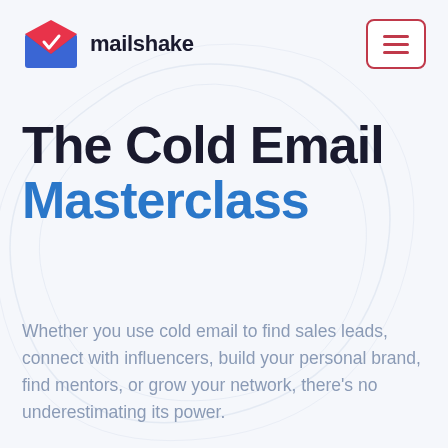[Figure (logo): Mailshake logo: blue envelope with red/pink flap and a white pen/checkmark icon inside]
mailshake
The Cold Email Masterclass
Whether you use cold email to find sales leads, connect with influencers, build your personal brand, find mentors, or grow your network, there’s no underestimating its power.